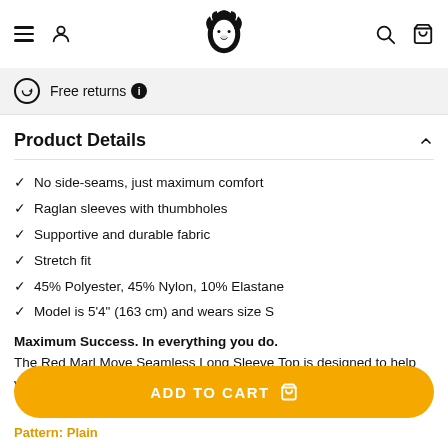Navigation header with logo, hamburger menu, user icon, search icon, and cart icon
Free returns ℹ
Product Details
No side-seams, just maximum comfort
Raglan sleeves with thumbholes
Supportive and durable fabric
Stretch fit
45% Polyester, 45% Nylon, 10% Elastane
Model is 5'4" (163 cm) and wears size S
Maximum Success. In everything you do. The Red Marl Move Seamless Long Sleeve Top is designed to help you succeed in everything you do, whether you need more performance or...
ADD TO CART
Pattern: Plain